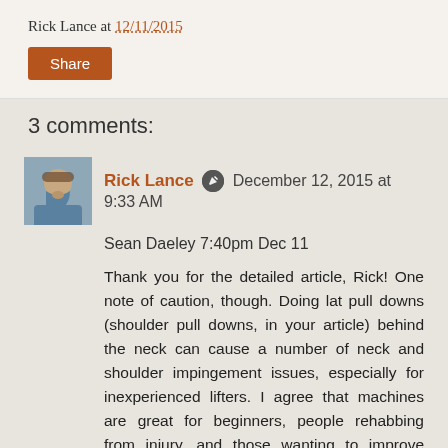Rick Lance at 12/11/2015
Share
3 comments:
Rick Lance  December 12, 2015 at 9:33 AM
Sean Daeley 7:40pm Dec 11
Thank you for the detailed article, Rick! One note of caution, though. Doing lat pull downs (shoulder pull downs, in your article) behind the neck can cause a number of neck and shoulder impingement issues, especially for inexperienced lifters. I agree that machines are great for beginners, people rehabbing from injury, and those wanting to improve muscularity without becoming bodybuilders, but I encourage anyone looking to workout at the gym or in general to try out a variety of tools (free weights, resistance bands, fitness classes, preferably under the supervision of an experienced trainer) and find what works out (get it?)